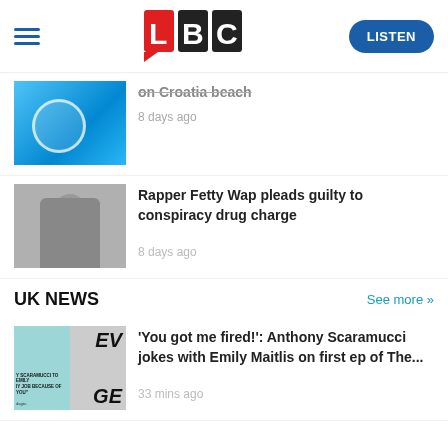LBC — LISTEN
on Croatia beach
8 days ago
Rapper Fetty Wap pleads guilty to conspiracy drug charge
8 days ago
UK NEWS
See more >>
'You got me fired!': Anthony Scaramucci jokes with Emily Maitlis on first ep of The...
33 mins ago